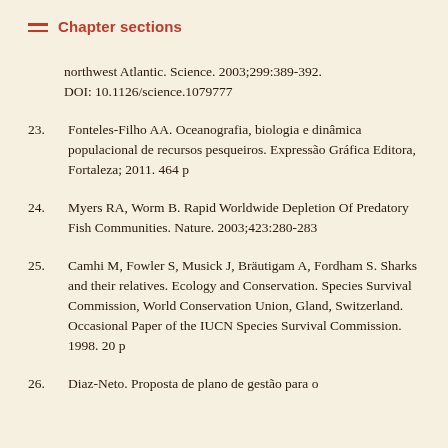Chapter sections
northwest Atlantic. Science. 2003;299:389-392. DOI: 10.1126/science.1079777
23. Fonteles-Filho AA. Oceanografia, biologia e dinâmica populacional de recursos pesqueiros. Expressão Gráfica Editora, Fortaleza; 2011. 464 p
24. Myers RA, Worm B. Rapid Worldwide Depletion Of Predatory Fish Communities. Nature. 2003;423:280-283
25. Camhi M, Fowler S, Musick J, Bräutigam A, Fordham S. Sharks and their relatives. Ecology and Conservation. Species Survival Commission, World Conservation Union, Gland, Switzerland. Occasional Paper of the IUCN Species Survival Commission. 1998. 20 p
26. Diaz-Neto. Proposta de plano de gestão para o